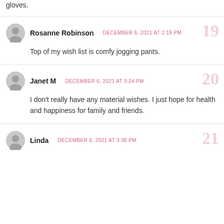gloves.
Rosanne Robinson   DECEMBER 6, 2021 AT 2:19 PM
Top of my wish list is comfy jogging pants.
Janet M   DECEMBER 6, 2021 AT 3:24 PM
I don't really have any material wishes. I just hope for health and happiness for family and friends.
Linda   DECEMBER 6, 2021 AT 3:36 PM